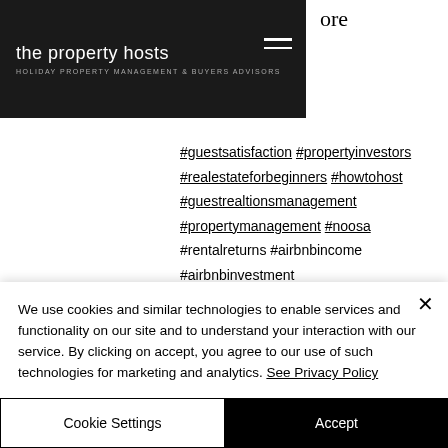the property hosts — HOLIDAY PROPERTY MANAGEMENT & BUYERS ADVISORS
ore
#guestsatisfaction #propertyinvestors #realestateforbeginners #howtohost #guestrealtionsmanagement #propertymanagement #noosa #rentalreturns #airbnbincome #airbnbinvestment
Follow me @thepropertyhosts
We use cookies and similar technologies to enable services and functionality on our site and to understand your interaction with our service. By clicking on accept, you agree to our use of such technologies for marketing and analytics. See Privacy Policy
Cookie Settings
Accept